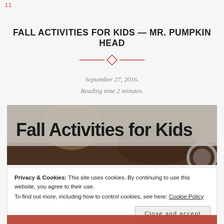11
FALL ACTIVITIES FOR KIDS — MR. PUMPKIN HEAD
September 27, 2016.
Reading time 2 minutes.
[Figure (photo): Blog header image with handwritten text 'Fall Activities for Kids' on a semi-transparent overlay over a photo background, with a circular graphic element at lower right]
Privacy & Cookies: This site uses cookies. By continuing to use this website, you agree to their use.
To find out more, including how to control cookies, see here: Cookie Policy
Close and accept